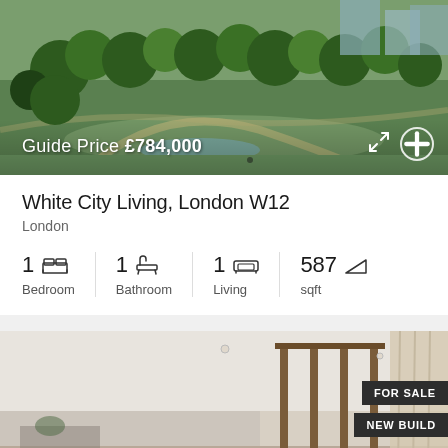[Figure (photo): Aerial view of White City Living development with green park, trees, pathways, and city buildings in background. Overlay text shows guide price.]
Guide Price £784,000
White City Living, London W12
London
1 Bedroom  1 Bathroom  1 Living  587 sqft
[Figure (photo): Interior photo of a modern new-build apartment showing white ceiling, wooden furniture/partition, and curtains. Badges: FOR SALE and NEW BUILD.]
FOR SALE
NEW BUILD